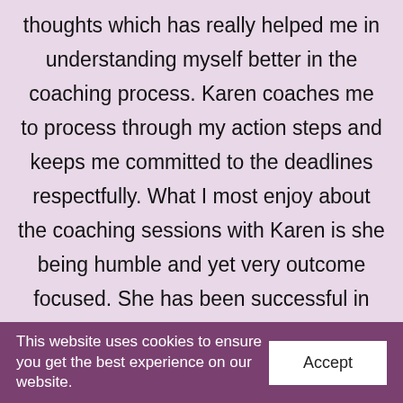thoughts which has really helped me in understanding myself better in the coaching process. Karen coaches me to process through my action steps and keeps me committed to the deadlines respectfully. What I most enjoy about the coaching sessions with Karen is she being humble and yet very outcome focused. She has been successful in putting me at ease with her ever calming voice. Karen exudes positive energy that is truly contagious. I certainly look forward to
This website uses cookies to ensure you get the best experience on our website.
Accept